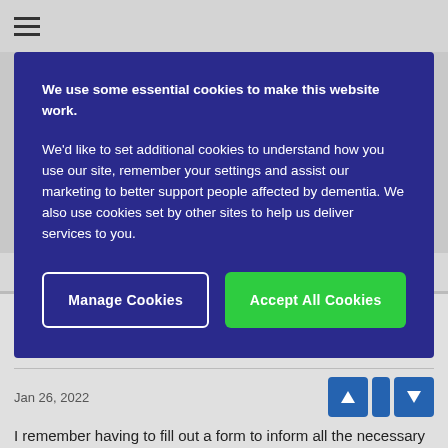≡
[Figure (screenshot): Cookie consent banner with dark blue background. Contains two paragraphs of text and two buttons: 'Manage Cookies' and 'Accept All Cookies'.]
It was months ago.
MaNaAk
Registered User
Jan 26, 2022
I remember having to fill out a form to inform all the necessary